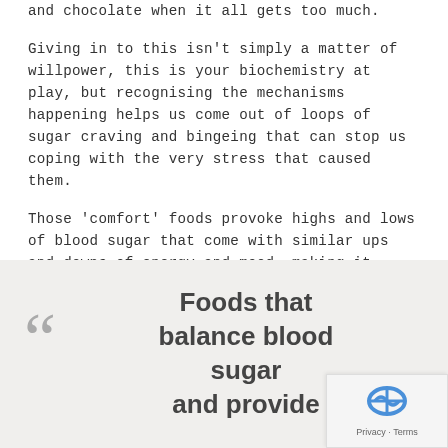and chocolate when it all gets too much.
Giving in to this isn't simply a matter of willpower, this is your biochemistry at play, but recognising the mechanisms happening helps us come out of loops of sugar craving and bingeing that can stop us coping with the very stress that caused them.
Those 'comfort' foods provoke highs and lows of blood sugar that come with similar ups and downs of energy and mood, making it harder to get through the day and adapt to the inevitable challenges along the way.
Foods that balance blood sugar and provide